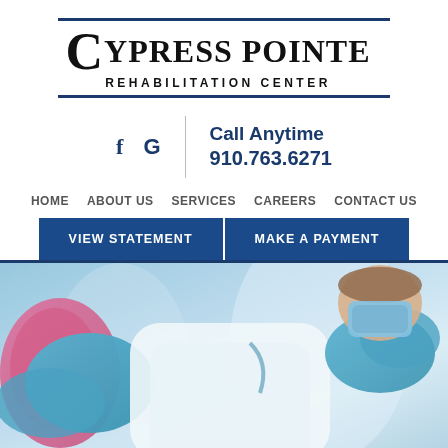[Figure (logo): Cypress Pointe Rehabilitation Center logo with double blue border lines top and bottom]
f  G  |  Call Anytime  910.763.6271
HOME   ABOUT US   SERVICES   CAREERS   CONTACT US
VIEW STATEMENT   MAKE A PAYMENT
[Figure (photo): Healthcare worker in white coat and blue gloves and face mask wiping a surface, close-up shot with blue and pink background tones]